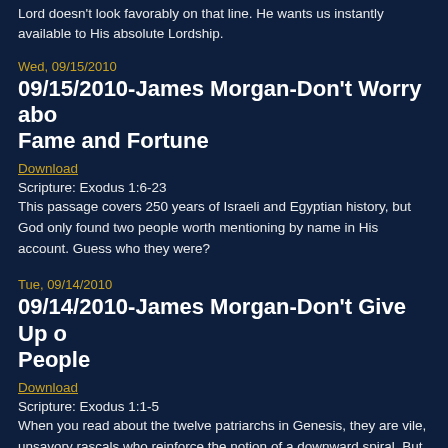Lord doesn't look favorably on that line. He wants us instantly available to His absolute Lordship.
Wed, 09/15/2010
09/15/2010-James Morgan-Don't Worry about Fame and Fortune
Download
Scripture: Exodus 1:6-23
This passage covers 250 years of Israeli and Egyptian history, but God only found two people worth mentioning by name in His account. Guess who they were?
Tue, 09/14/2010
09/14/2010-James Morgan-Don't Give Up on People
Download
Scripture: Exodus 1:1-5
When you read about the twelve patriarchs in Genesis, they are vile, unsavory rascals who reinforce the notion of a downward spiral. But guess how the story ends? While the generations are spiraling downward, the grace of God is spiraling upward.